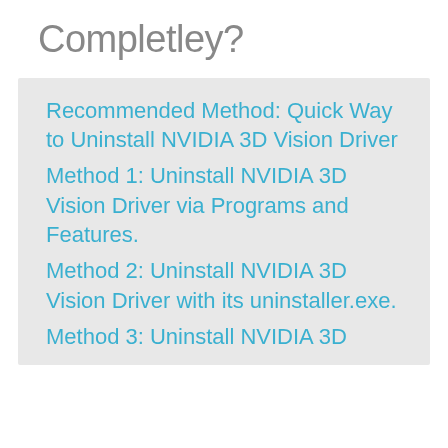Completley?
Recommended Method: Quick Way to Uninstall NVIDIA 3D Vision Driver
Method 1: Uninstall NVIDIA 3D Vision Driver via Programs and Features.
Method 2: Uninstall NVIDIA 3D Vision Driver with its uninstaller.exe.
Method 3: Uninstall NVIDIA 3D